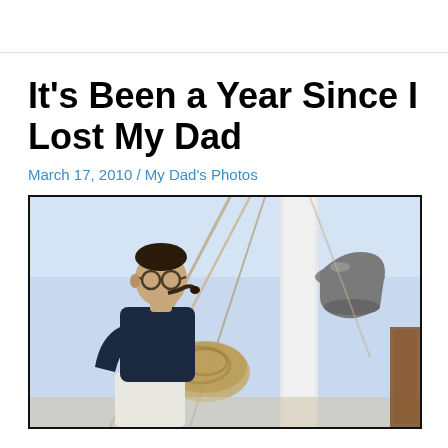It’s Been a Year Since I Lost My Dad
March 17, 2010 / My Dad’s Photos
[Figure (photo): A man with glasses and a pipe in his mouth, wearing a dark navy polo shirt and white pants, sitting on the deck of a sailboat. A large ship's bell is visible on a white mast in the background, along with ropes and rigging. The sky is bright and clear.]